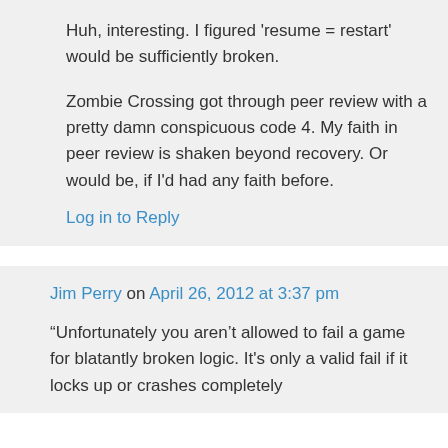Huh, interesting. I figured 'resume = restart' would be sufficiently broken.

Zombie Crossing got through peer review with a pretty damn conspicuous code 4. My faith in peer review is shaken beyond recovery. Or would be, if I'd had any faith before.
Log in to Reply
Jim Perry on April 26, 2012 at 3:37 pm
“Unfortunately you aren’t allowed to fail a game for blatantly broken logic. It's only a valid fail if it locks up or crashes completely